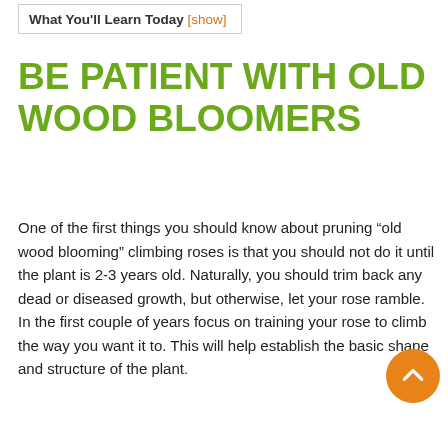What You'll Learn Today [show]
BE PATIENT WITH OLD WOOD BLOOMERS
One of the first things you should know about pruning “old wood blooming” climbing roses is that you should not do it until the plant is 2-3 years old. Naturally, you should trim back any dead or diseased growth, but otherwise, let your rose ramble. In the first couple of years focus on training your rose to climb the way you want it to. This will help establish the basic shape and structure of the plant.
After the plant is fully leafed out in the second year, you can perform your first light pruning. If you have a single-blooming rose, prune “old wood” judiciously because th… where the blooms develop on this variety.
After your climbing rose has finished blooming in the second